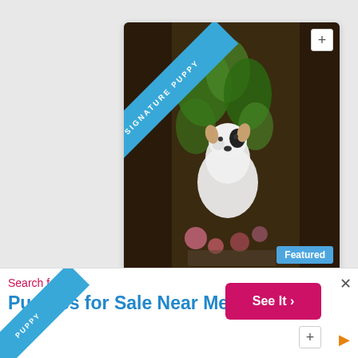[Figure (photo): A Jack Russell Terrier puppy named Nemo photographed among plants and flowers. A blue 'SIGNATURE PUPPY' ribbon banner overlays the top-left corner. A '+' button is at top-right and a blue 'Featured' badge is at bottom-right of the image.]
Nemo
Jack Russell Terrier
Male, 27 weeks
Fort Wayne, Indiana
Learn more ›
Search for
Puppies for Sale Near Me
See It ›